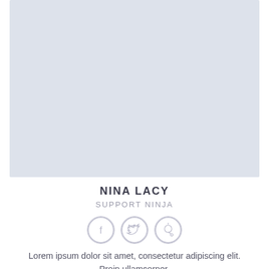[Figure (photo): Light blue-gray placeholder photo area for Nina Lacy]
NINA LACY
SUPPORT NINJA
[Figure (illustration): Three circular social media icons: Facebook, Twitter, Pinterest]
Lorem ipsum dolor sit amet, consectetur adipiscing elit. Proin ullamcorner.